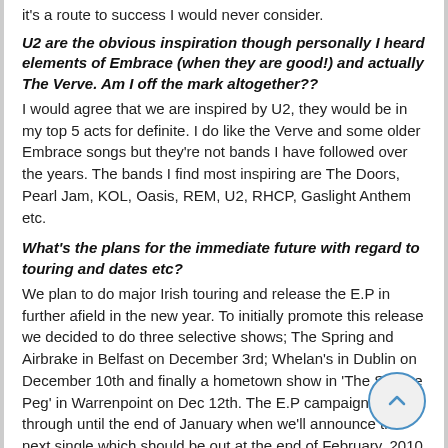it's a route to success I would never consider.
U2 are the obvious inspiration though personally I heard elements of Embrace (when they are good!) and actually The Verve. Am I off the mark altogether??
I would agree that we are inspired by U2, they would be in my top 5 acts for definite. I do like the Verve and some older Embrace songs but they're not bands I have followed over the years. The bands I find most inspiring are The Doors, Pearl Jam, KOL, Oasis, REM, U2, RHCP, Gaslight Anthem etc.
What's the plans for the immediate future with regard to touring and dates etc?
We plan to do major Irish touring and release the E.P in further afield in the new year. To initially promote this release we decided to do three selective shows; The Spring and Airbrake in Belfast on December 3rd; Whelan's in Dublin on December 10th and finally a hometown show in 'The Square Peg' in Warrenpoint on Dec 12th. The E.P campaign will run through until the end of January when we'll announce the next single which should be out at the end of February. 2010 is when we plan on bringing the show to the road with more new material.
Kevin Coleman